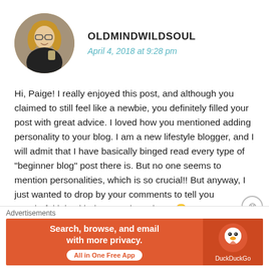[Figure (photo): Circular avatar photo of a woman with blonde hair wearing a black top, smiling and holding a drink]
OLDMINDWILDSOUL
April 4, 2018 at 9:28 pm
Hi, Paige! I really enjoyed this post, and although you claimed to still feel like a newbie, you definitely filled your post with great advice. I loved how you mentioned adding personality to your blog. I am a new lifestyle blogger, and I will admit that I have basically binged read every type of "beginner blog" post there is. But no one seems to mention personalities, which is so crucial!! But anyway, I just wanted to drop by your comments to tell you wonderful job with the post, keep it up! 🙂
★ Like
[Figure (screenshot): DuckDuckGo advertisement banner: orange background with text 'Search, browse, and email with more privacy. All in One Free App' and DuckDuckGo logo on the right]
Advertisements